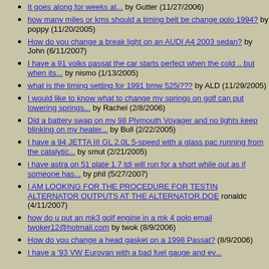It goes along for weeks at... by Gutter (11/27/2006)
how many miles or kms should a timing belt be change polo 1994? by poppy (11/20/2005)
How do you change a break light on an AUDI A4 2003 sedan? by John (6/11/2007)
I have a 91 volks passat the car starts perfect when the cold .. but when its... by nismo (1/13/2005)
what is the timing setting for 1991 bmw 525i??? by ALD (11/29/2005)
I would like to know what to change my springs on golf can put lowering springs... by Rachel (2/8/2006)
Did a battery swap on my 98 Plymouth Voyager and no lights keep blinking on my heater... by Bull (2/22/2005)
I have a 94 JETTA III GL 2.0L 5-speed with a glass pac running from the catalytic... by smut (2/21/2005)
i have astra on 51 plate 1.7 tdi will run for a short while out as if someone has... by phil (5/27/2007)
I AM LOOKING FOR THE PROCEDURE FOR TESTIN ALTERNATOR OUTPUTS AT THE ALTERNATOR.DOE ronaldc (4/11/2007)
how do u put an mk3 golf engine in a mk 4 polo email twoker12@hotmail.com by twok (8/9/2006)
How do you change a head gasket on a 1998 Passat? (8/9/2006)
I have a '93 VW Eurovan with a bad fuel gauge and ev...